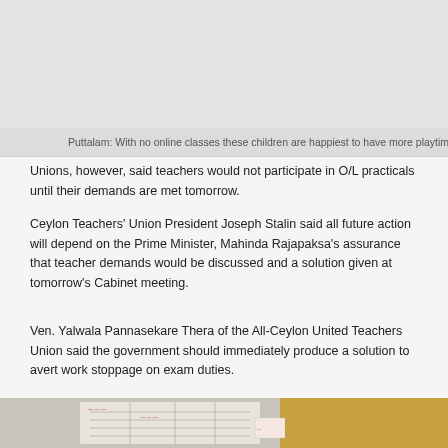[Figure (photo): Top portion of a photo showing children at playtime in Puttalam, partially visible at top of page]
Puttalam: With no online classes these children are happiest to have more playtime. Pic by Hira…
Unions, however, said teachers would not participate in O/L practicals until their demands are met tomorrow.
Ceylon Teachers' Union President Joseph Stalin said all future action will depend on the Prime Minister, Mahinda Rajapaksa's assurance that teacher demands would be discussed and a solution given at tomorrow's Cabinet meeting.
Ven. Yalwala Pannasekare Thera of the All-Ceylon United Teachers Union said the government should immediately produce a solution to avert work stoppage on exam duties.
[Figure (photo): Bottom portion of page showing a photo of paper documents/notes on a wooden surface]